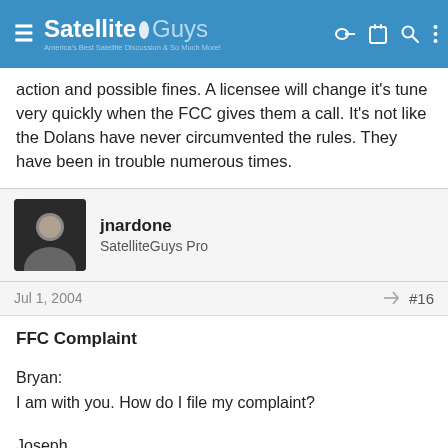SatelliteGuys — America's Best Satellite Discussion & So Much More
action and possible fines. A licensee will change it's tune very quickly when the FCC gives them a call. It's not like the Dolans have never circumvented the rules. They have been in trouble numerous times.
jnardone
SatelliteGuys Pro
Jul 1, 2004  #16
FFC Complaint
Bryan:
I am with you. How do I file my complaint?

Joseph